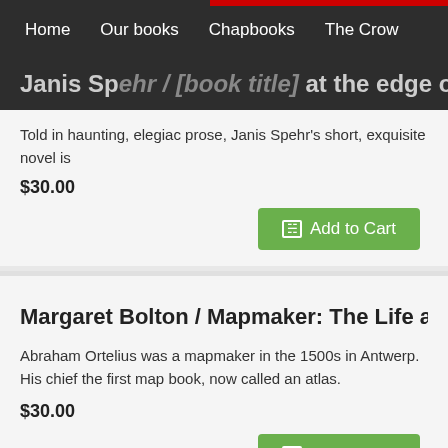Home | Our books | Chapbooks | The Crow
Janis Spehr / [book title] at the edge of the sky
Told in haunting, elegiac prose, Janis Spehr's short, exquisite novel is
$30.00
Add to Cart
Margaret Bolton / Mapmaker: The Life and Times of Ab
Abraham Ortelius was a mapmaker in the 1500s in Antwerp. His chief the first map book, now called an atlas.
$30.00
Add to Cart